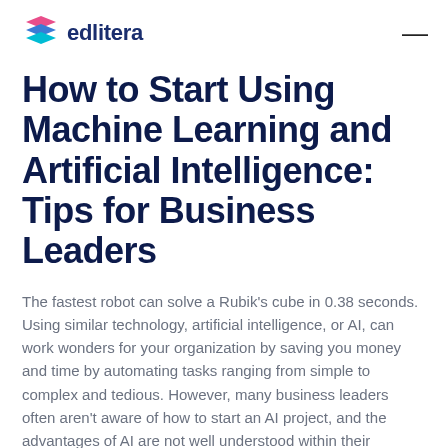edlitera
How to Start Using Machine Learning and Artificial Intelligence: Tips for Business Leaders
The fastest robot can solve a Rubik's cube in 0.38 seconds. Using similar technology, artificial intelligence, or AI, can work wonders for your organization by saving you money and time by automating tasks ranging from simple to complex and tedious. However, many business leaders often aren't aware of how to start an AI project, and the advantages of AI are not well understood within their organizations.